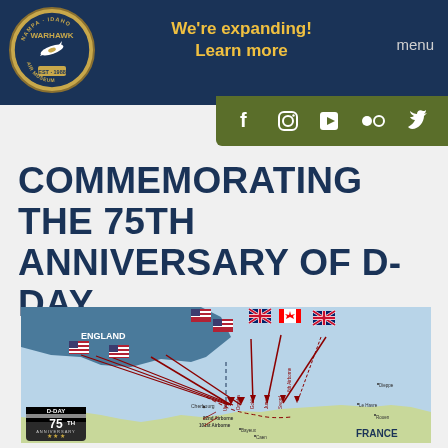We're expanding! Learn more   menu
COMMEMORATING THE 75TH ANNIVERSARY OF D-DAY
[Figure (map): D-Day 75th Anniversary map showing England and France with invasion routes marked by red arrows from England to Normandy beaches (Utah, Omaha, Gold, Juno, Sword), with national flags (US, UK, Canada) indicating allied forces, and labels for 82nd Airborne, 101st Airborne, 6th Airborne, with locations including Cherbourg, Bayeux, Caen, Dieppe, Le Havre, Rouen marked on France coastline. D-Day 75th Anniversary badge in lower left.]